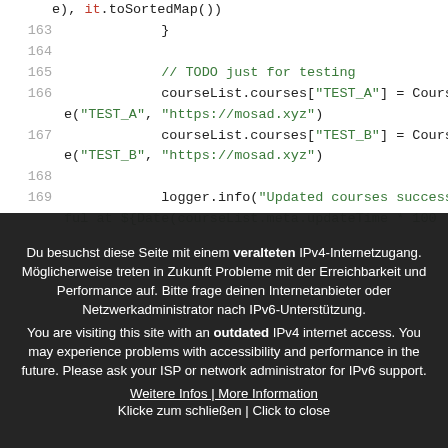Code snippet showing lines 163-169 with courseList and logger.info calls
Du besuchst diese Seite mit einem veralteten IPv4-Internetzugang. Möglicherweise treten in Zukunft Probleme mit der Erreichbarkeit und Performance auf. Bitte frage deinen Internetanbieter oder Netzwerkadministrator nach IPv6-Unterstützung. You are visiting this site with an outdated IPv4 internet access. You may experience problems with accessibility and performance in the future. Please ask your ISP or network administrator for IPv6 support. Weitere Infos | More Information. Klicke zum schließen | Click to close